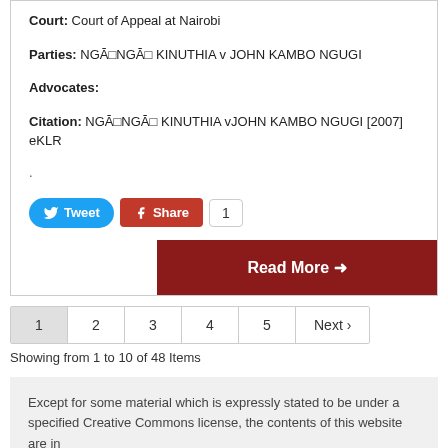Court: Court of Appeal at Nairobi
Parties: NGĀNGĀ KINUTHIA v JOHN KAMBO NGUGI
Advocates:
Citation: NGĀNGĀ KINUTHIA vJOHN KAMBO NGUGI [2007] eKLR
.
Tweet  Share  1
Read More →
1  2  3  4  5  Next ›
Showing from 1 to 10 of 48 Items
Except for some material which is expressly stated to be under a specified Creative Commons license, the contents of this website are in